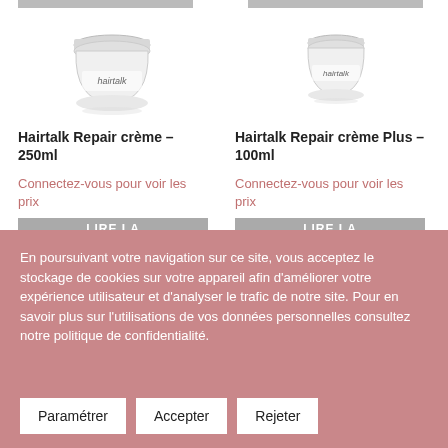[Figure (photo): Two Hairtalk cosmetic cream jar products shown side by side in a product listing layout. Left: larger white/silver jar. Right: smaller white jar. Both have 'hairtalk' branding. Gray button bar partially visible at top.]
Hairtalk Repair crème – 250ml
Connectez-vous pour voir les prix
Hairtalk Repair crème Plus – 100ml
Connectez-vous pour voir les prix
En poursuivant votre navigation sur ce site, vous acceptez le stockage de cookies sur votre appareil afin d'améliorer votre expérience utilisateur et d'analyser le trafic de notre site. Pour en savoir plus sur l'utilisations de vos données personnelles consultez notre politique de confidentialité.
Paramétrer
Accepter
Rejeter